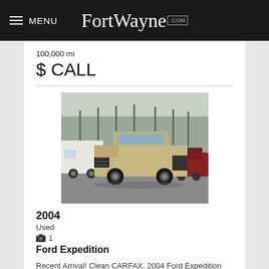MENU FortWayne.com
100,000 mi
$ CALL
[Figure (photo): Photo of a 2004 Ford Expedition SUV in beige/gold color, parked in a lot with bare trees and other vehicles in background]
2004
Used
1
Ford Expedition
Recent Arrival! Clean CARFAX. 2004 Ford Expedition Beige XLT 4WD 5.4L V8 SOHC 4-Speed Automatic with Overdrive 4WD. GVWR: 7,300 lbs Payload Package; 4WD; 3.73 ...